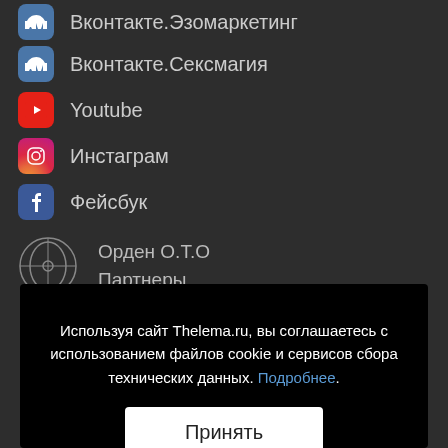Вконтакте.Эзомаркетинг
Вконтакте.Сексмагия
Youtube
Инстаграм
Фейсбук
Орден О.Т.О
Партнеры
Используя сайт Thelema.ru, вы соглашаетесь с использованием файлов cookie и сервисов сбора технических данных. Подробнее.
Принять
Расписание